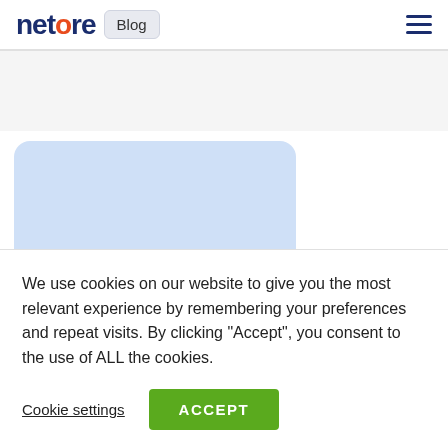netcore Blog
[Figure (illustration): Light blue rounded card placeholder on the left; dark navy card on the right with text 'MAXIMISE V', 'TRANSAC', 'EMA' in yellow and white, partially cropped]
We use cookies on our website to give you the most relevant experience by remembering your preferences and repeat visits. By clicking “Accept”, you consent to the use of ALL the cookies.
Cookie settings   ACCEPT